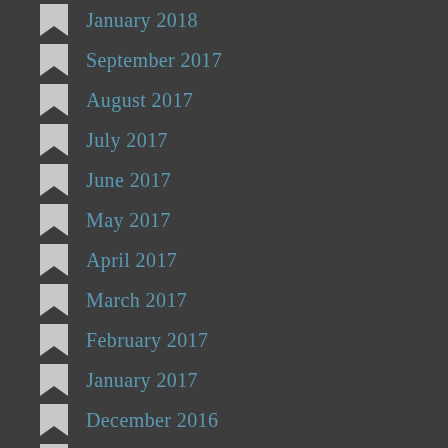January 2018
September 2017
August 2017
July 2017
June 2017
May 2017
April 2017
March 2017
February 2017
January 2017
December 2016
November 2016
October 2016